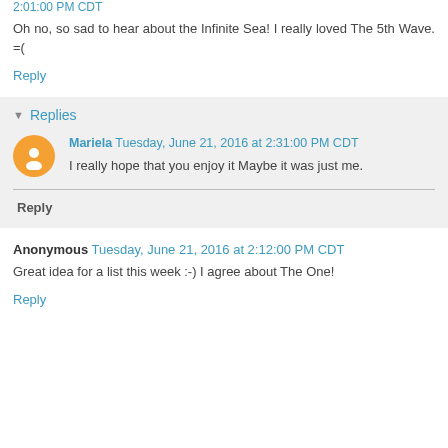2:01:00 PM CDT
Oh no, so sad to hear about the Infinite Sea! I really loved The 5th Wave. =(
Reply
Replies
Mariela Tuesday, June 21, 2016 at 2:31:00 PM CDT
I really hope that you enjoy it Maybe it was just me.
Reply
Anonymous Tuesday, June 21, 2016 at 2:12:00 PM CDT
Great idea for a list this week :-) I agree about The One!
Reply